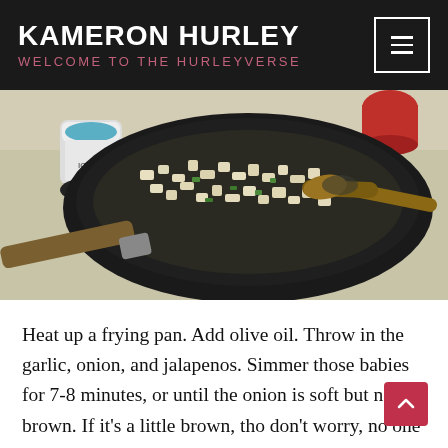KAMERON HURLEY — WELCOME TO THE HURLEYVERSE
[Figure (photo): A black frying pan with chopped onions, garlic, and jalapenos being sautéed with a wooden spoon. A wooden-handled pan is visible. Kitchen counter background with containers visible.]
Heat up a frying pan. Add olive oil. Throw in the garlic, onion, and jalapenos. Simmer those babies for 7-8 minutes, or until the onion is soft but not brown. If it's a little brown, tho don't worry, no one will die. I didn't. But then, I have a high tolerance for death. Or is that, a high intolerance for death?